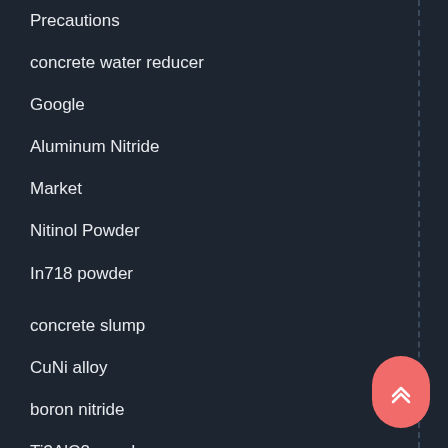Precautions
concrete water reducer
Google
Aluminum Nitride
Market
Nitinol Powder
In718 powder
concrete slump
CuNi alloy
boron nitride
Ti3AlC2 powder
polycarboxylate ether
concrete superplasticizer